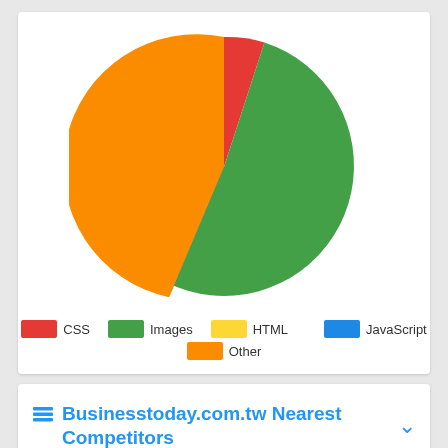[Figure (pie-chart): ]
Businesstoday.com.tw Nearest Competitors